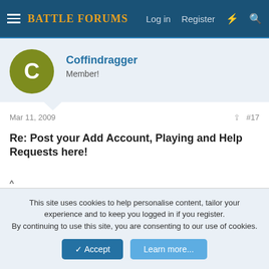Battle Forums — Log in  Register
Coffindragger
Member!
Mar 11, 2009  #17
Re: Post your Add Account, Playing and Help Requests here!
^
|
|
|
|
This site uses cookies to help personalise content, tailor your experience and to keep you logged in if you register.
By continuing to use this site, you are consenting to our use of cookies.
Accept  Learn more...